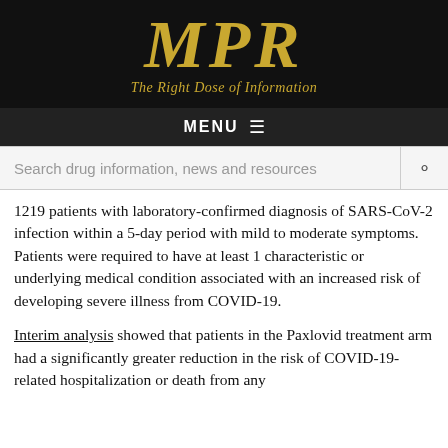MPR — The Right Dose of Information
1219 patients with laboratory-confirmed diagnosis of SARS-CoV-2 infection within a 5-day period with mild to moderate symptoms. Patients were required to have at least 1 characteristic or underlying medical condition associated with an increased risk of developing severe illness from COVID-19.
Interim analysis showed that patients in the Paxlovid treatment arm had a significantly greater reduction in the risk of COVID-19-related hospitalization or death from any